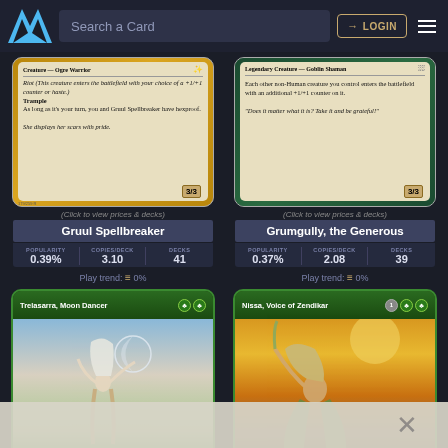Search a Card | LOGIN
[Figure (illustration): MTG card: Gruul Spellbreaker - Creature Ogre Warrior 3/3 with Riot, Trample, Hexproof]
(Click to view prices & decks)
Gruul Spellbreaker
| POPULARITY | COPIES/DECK | DECKS |
| --- | --- | --- |
| 0.39% | 3.10 | 41 |
Play trend: = 0%
[Figure (illustration): MTG card: Grumgully, the Generous - Legendary Creature Goblin Shaman 3/3]
(Click to view prices & decks)
Grumgully, the Generous
| POPULARITY | COPIES/DECK | DECKS |
| --- | --- | --- |
| 0.37% | 2.08 | 39 |
Play trend: = 0%
[Figure (illustration): MTG card: Trelasarra, Moon Dancer (partially visible, bottom of page)]
[Figure (illustration): MTG card: Nissa, Voice of Zendikar (partially visible, bottom of page)]